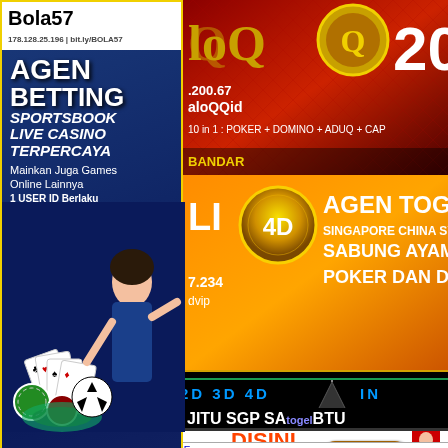[Figure (advertisement): Bola57 vertical sidebar advertisement for agen betting sportsbook live casino terpercaya with woman and casino imagery]
[Figure (advertisement): HaloQQ top banner showing 20% bonus, 10 in 1 poker domino aduq games at IP 200.67]
[Figure (advertisement): Orange banner Agen Togel Online 4D Singapore China Sydney Sabung Ayam Sports Poker Dan Domino]
2D 3D 4D
IN
[Figure (illustration): Closed sign hanging on triangle/hook]
JITU SGP SABTU togel
[Figure (advertisement): PASANG IKLAN ANDA DISINI !!! with Klik Disini button and model]
KSISGP, PREDIKSI TOGEL SINGAPORE